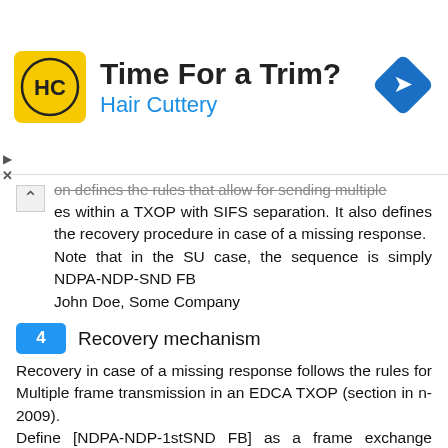[Figure (advertisement): Hair Cuttery advertisement banner with logo, 'Time For a Trim?' heading, 'Hair Cuttery' subheading in blue, and a blue diamond navigation icon]
on defines the rules that allow for sending multiple frames within a TXOP with SIFS separation. It also defines the recovery procedure in case of a missing response.
Note that in the SU case, the sequence is simply NDPA-NDP-SND FB
John Doe, Some Company
4   Recovery mechanism
Recovery in case of a missing response follows the rules for Multiple frame transmission in an EDCA TXOP (section in n-2009).
Define [NDPA-NDP-1stSND FB] as a frame exchange ('NDPA frame exchange')
According to the rules in the following behavior, for instance, is possible
In case first STA does not send SND FB SIFS time after NDP
If NDPA frame exchange is the first frame exchange of a TXOP